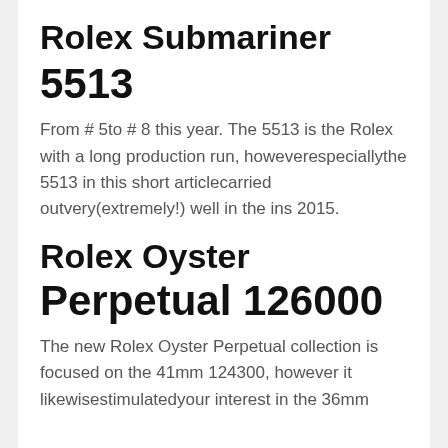Rolex Submariner
5513
From # 5to # 8 this year. The 5513 is the Rolex with a long production run, howeverespeciallythe 5513 in this short articlecarried outvery(extremely!) well in the ins 2015.
Rolex Oyster
Perpetual 126000
The new Rolex Oyster Perpetual collection is focused on the 41mm 124300, however it likewisestimulatedyour interest in the 36mm